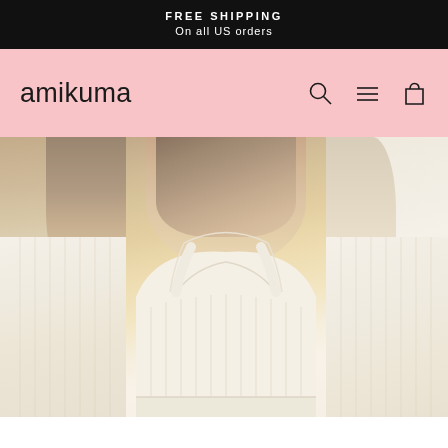FREE SHIPPING
On all US orders
amikuma
[Figure (photo): E-commerce website screenshot showing the Amikuma brand page with a black announcement bar at top reading FREE SHIPPING On all US orders, a pink navigation bar with the amikuma logo on the left and search, menu, and cart icons on the right, and a hero section with three cropped photos of a woman wearing a cream/off-white ribbed crop bra top against a warm beige background]